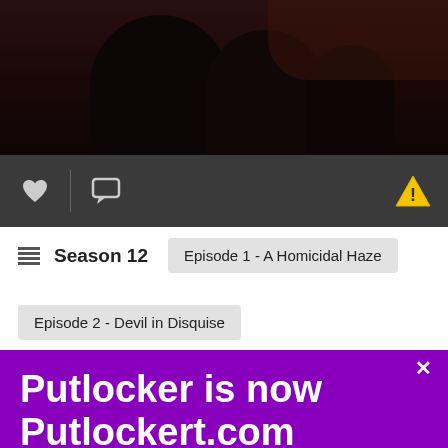[Figure (photo): Dark blurry photo of people/silhouettes in a dim setting]
♥  💬  ⚠
☰ Season 12    Episode 1 - A Homicidal Haze
Episode 2 - Devil in Disquise
Putlocker is now Putlockert.com
Please help us by sharing and spreading the word.